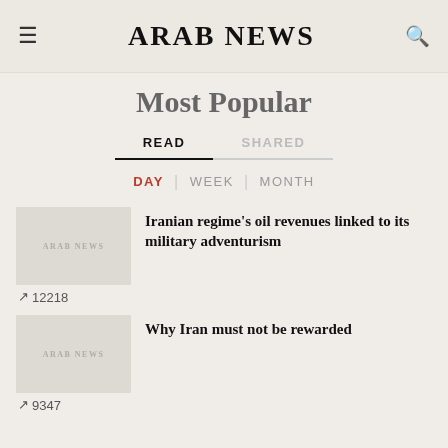ARAB NEWS
Most Popular
READ | SHARED
DAY | WEEK | MONTH
[Figure (logo): Arab News logo placeholder thumbnail]
Iranian regime’s oil revenues linked to its military adventurism
12218
[Figure (logo): Arab News logo placeholder thumbnail]
Why Iran must not be rewarded
9347